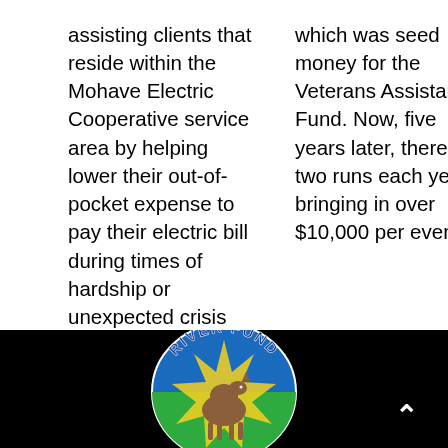assisting clients that reside within the Mohave Electric Cooperative service area by helping lower their out-of-pocket expense to pay their electric bill during times of hardship or unexpected crisis situations.
which was seed money for the Veterans Assistance Fund. Now, five years later, there are two runs each year bringing in over $10,000 per event.
[Figure (logo): River Fund logo on black background with a caret/up-arrow button in the bottom right corner]